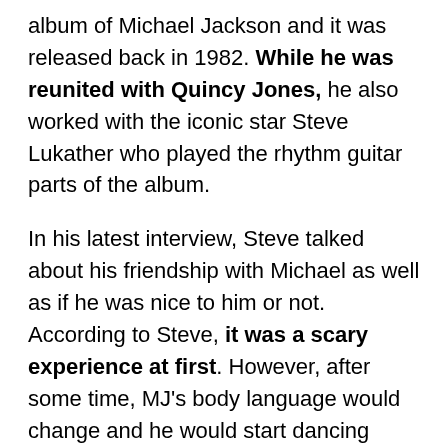album of Michael Jackson and it was released back in 1982. While he was reunited with Quincy Jones, he also worked with the iconic star Steve Lukather who played the rhythm guitar parts of the album.
In his latest interview, Steve talked about his friendship with Michael as well as if he was nice to him or not. According to Steve, it was a scary experience at first. However, after some time, MJ's body language would change and he would start dancing around time by time.
Here is what he said:
“Interesting cat. Don’t know him as a friend but